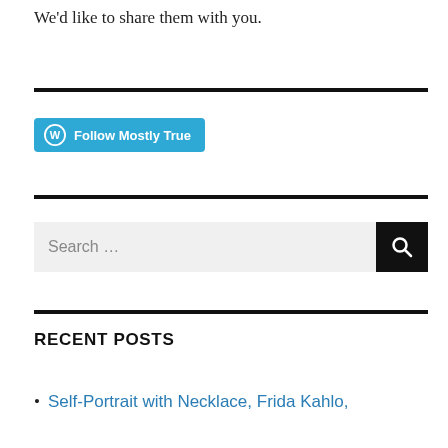We'd like to share them with you.
[Figure (other): Follow Mostly True WordPress follow button]
[Figure (other): Search bar with search icon button]
RECENT POSTS
Self-Portrait with Necklace, Frida Kahlo,